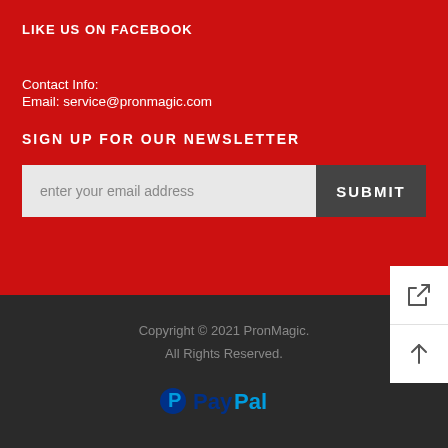LIKE US ON FACEBOOK
Contact Info:
Email: service@pronmagic.com
SIGN UP FOR OUR NEWSLETTER
enter your email address
SUBMIT
Copyright © 2021 PronMagic.
All Rights Reserved.
[Figure (logo): PayPal logo in blue]